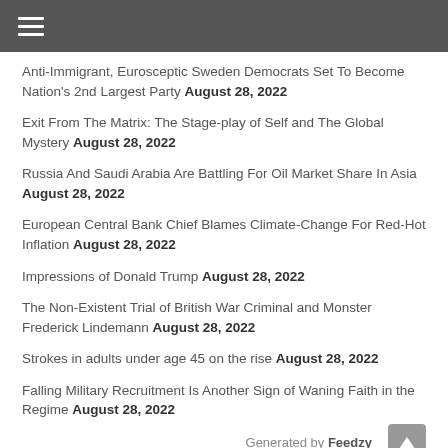≡ (hamburger menu)
Anti-Immigrant, Eurosceptic Sweden Democrats Set To Become Nation's 2nd Largest Party August 28, 2022
Exit From The Matrix: The Stage-play of Self and The Global Mystery August 28, 2022
Russia And Saudi Arabia Are Battling For Oil Market Share In Asia August 28, 2022
European Central Bank Chief Blames Climate-Change For Red-Hot Inflation August 28, 2022
Impressions of Donald Trump August 28, 2022
The Non-Existent Trial of British War Criminal and Monster Frederick Lindemann August 28, 2022
Strokes in adults under age 45 on the rise August 28, 2022
Falling Military Recruitment Is Another Sign of Waning Faith in the Regime August 28, 2022
Generated by Feedzy
Chang: China Is Weaponizing Chinese Worldwide To Support